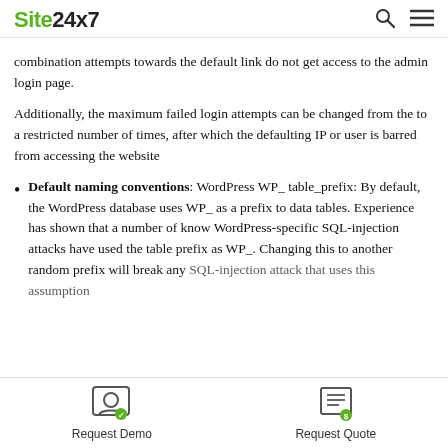Site24x7
combination attempts towards the default link do not get access to the admin login page.
Additionally, the maximum failed login attempts can be changed from the to a restricted number of times, after which the defaulting IP or user is barred from accessing the website
Default naming conventions: WordPress WP_table_prefix: By default, the WordPress database uses WP_ as a prefix to data tables. Experience has shown that a number of know WordPress-specific SQL-injection attacks have used the table prefix as WP_. Changing this to another random prefix will break any SQL-injection attack that uses this assumption
Request Demo   Request Quote